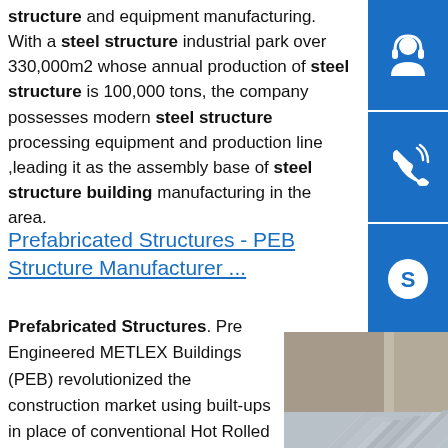structure and equipment manufacturing. With a steel structure industrial park over 330,000m2 whose annual production of steel structure is 100,000 tons, the company possesses modern steel structure processing equipment and production line ,leading it as the assembly base of steel structure building manufacturing in the area.
Prefabricated Structures - PEB Structure Manufacturer ...
Prefabricated Structures. Pre Engineered METLEX Buildings (PEB) revolutionized the construction market using built-ups in place of conventional Hot Rolled Sections. PEB is a METLEX structure built over a structural concept of primary members, secondary
[Figure (photo): Stack of steel angle bars/sections arranged in rows]
[Figure (infographic): Blue sidebar with three icon buttons: headset/customer service icon, phone/call icon, Skype icon]